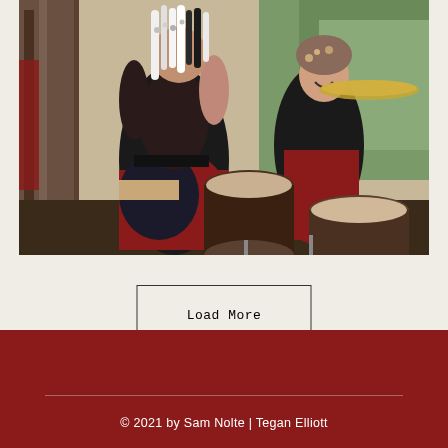[Figure (photo): Two women in theatrical/Renaissance festival costumes with black and red outfits, one with white and black dreadlocks, performing with drums (djembe and other percussion) outdoors near a wooden structure and trees.]
Load More
© 2021 by Sam Nolte | Tegan Elliott